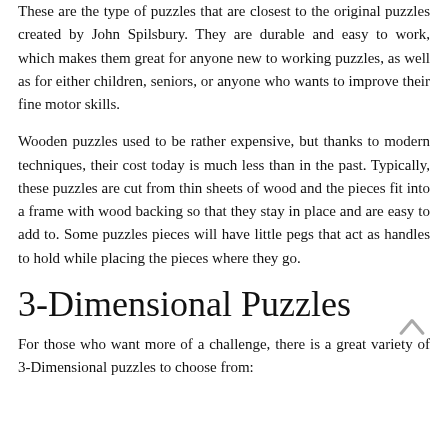These are the type of puzzles that are closest to the original puzzles created by John Spilsbury. They are durable and easy to work, which makes them great for anyone new to working puzzles, as well as for either children, seniors, or anyone who wants to improve their fine motor skills.
Wooden puzzles used to be rather expensive, but thanks to modern techniques, their cost today is much less than in the past. Typically, these puzzles are cut from thin sheets of wood and the pieces fit into a frame with wood backing so that they stay in place and are easy to add to. Some puzzles pieces will have little pegs that act as handles to hold while placing the pieces where they go.
3-Dimensional Puzzles
For those who want more of a challenge, there is a great variety of 3-Dimensional puzzles to choose from: